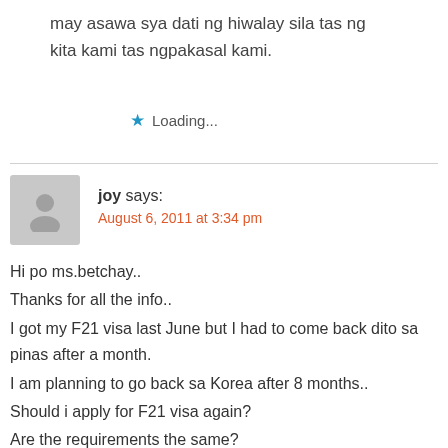may asawa sya dati ng hiwalay sila tas ng kita kami tas ngpakasal kami.
Loading...
joy says:
August 6, 2011 at 3:34 pm
Hi po ms.betchay..
Thanks for all the info..
I got my F21 visa last June but I had to come back dito sa pinas after a month.
I am planning to go back sa Korea after 8 months..
Should i apply for F21 visa again?
Are the requirements the same?